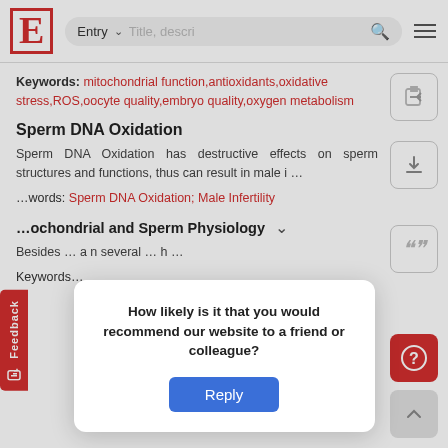E | Entry v | Title, descri... [search] [menu]
Keywords: mitochondrial function,antioxidants,oxidative stress,ROS,oocyte quality,embryo quality,oxygen metabolism
Sperm DNA Oxidation
Sperm DNA Oxidation has destructive effects on sperm structures and functions, thus can result in male i...
Keywords: Sperm DNA Oxidation; Male Infertility
ochondrial and Sperm Physiology
Besides... several...
Keywords:
How likely is it that you would recommend our website to a friend or colleague?
Reply